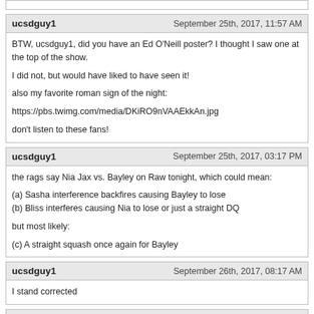ucsdguy1 | September 25th, 2017, 11:57 AM
BTW, ucsdguy1, did you have an Ed O'Neill poster? I thought I saw one at the top of the show.

I did not, but would have liked to have seen it!

also my favorite roman sign of the night:

https://pbs.twimg.com/media/DKiRO9nVAAEkkAn.jpg

don't listen to these fans!
ucsdguy1 | September 25th, 2017, 03:17 PM
the rags say Nia Jax vs. Bayley on Raw tonight, which could mean:

(a) Sasha interference backfires causing Bayley to lose
(b) Bliss interferes causing Nia to lose or just a straight DQ

but most likely:

(c) A straight squash once again for Bayley
ucsdguy1 | September 26th, 2017, 08:17 AM
I stand corrected
TooCool | September 26th, 2017, 09:17 AM
I stand corrected